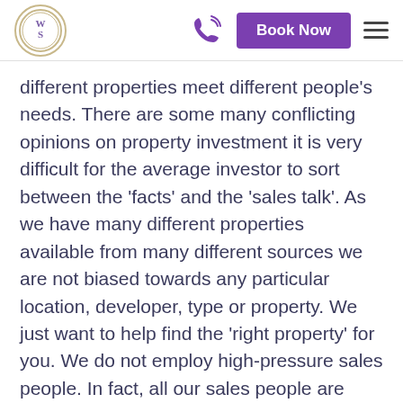WS logo | phone icon | Book Now | hamburger menu
different properties meet different people's needs. There are some many conflicting opinions on property investment it is very difficult for the average investor to sort between the 'facts' and the 'sales talk'. As we have many different properties available from many different sources we are not biased towards any particular location, developer, type or property. We just want to help find the 'right property' for you. We do not employ high-pressure sales people. In fact, all our sales people are trained in leading a horse to water but not forcing it to drink. We will convince you to buy a property WHEN YOU ARE READY TO BUY A PROPERTY and not anytime before. We want you so satisfied with our service that you will come